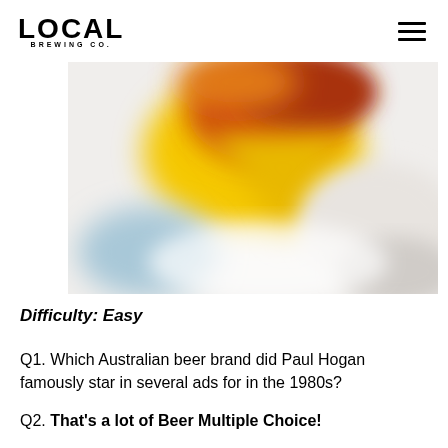LOCAL BREWING CO.
[Figure (photo): Blurred close-up photo of beer cans or bottles with yellow, red/orange, blue and white colors, out of focus.]
Difficulty: Easy
Q1. Which Australian beer brand did Paul Hogan famously star in several ads for in the 1980s?
Q2. That's a lot of Beer Multiple Choice!